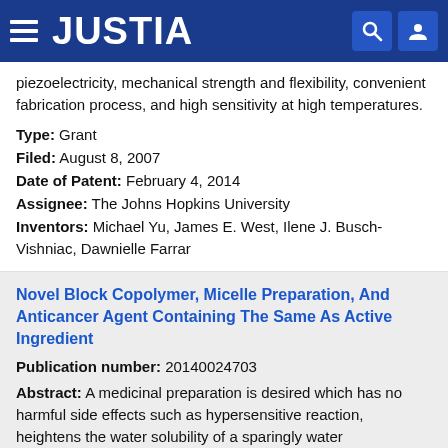JUSTIA
piezoelectricity, mechanical strength and flexibility, convenient fabrication process, and high sensitivity at high temperatures.
Type: Grant
Filed: August 8, 2007
Date of Patent: February 4, 2014
Assignee: The Johns Hopkins University
Inventors: Michael Yu, James E. West, Ilene J. Busch-Vishniac, Dawnielle Farrar
Novel Block Copolymer, Micelle Preparation, And Anticancer Agent Containing The Same As Active Ingredient
Publication number: 20140024703
Abstract: A medicinal preparation is desired which has no harmful side effects such as hypersensitive reaction, heightens the water solubility of a sparingly water